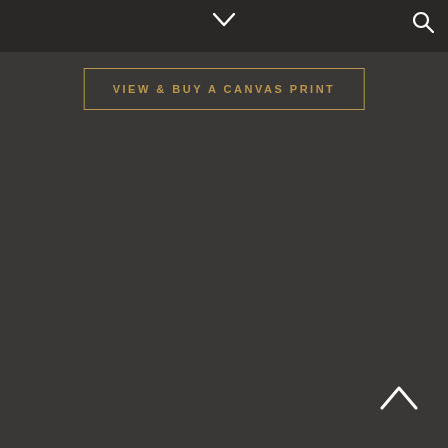VIEW & BUY A CANVAS PRINT
[Figure (other): Chevron up navigation arrow icon, white, bottom right corner]
[Figure (other): Chevron down navigation arrow icon, white, top center header]
[Figure (other): Search magnifying glass icon, white, top right header]